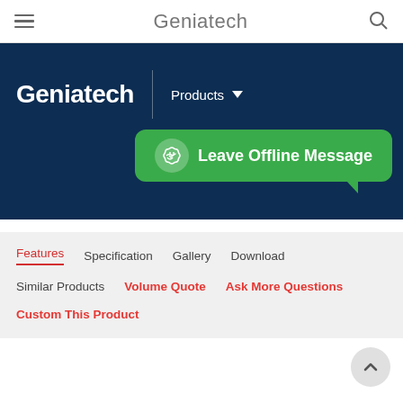Geniatech
[Figure (screenshot): Geniatech website navigation banner with logo, Products dropdown, and Leave Offline Message button]
Features  Specification  Gallery  Download
Similar Products  Volume Quote  Ask More Questions
Custom This Product